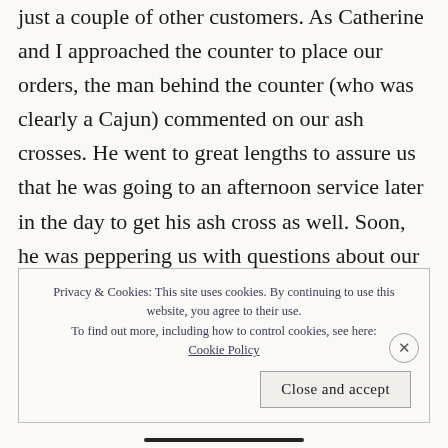just a couple of other customers. As Catherine and I approached the counter to place our orders, the man behind the counter (who was clearly a Cajun) commented on our ash crosses. He went to great lengths to assure us that he was going to an afternoon service later in the day to get his ash cross as well. Soon, he was peppering us with questions about our plans for Lent.
Privacy & Cookies: This site uses cookies. By continuing to use this website, you agree to their use.
To find out more, including how to control cookies, see here: Cookie Policy